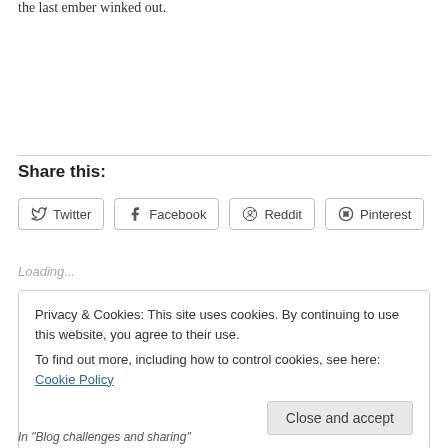the last ember winked out.
Share this:
Twitter  Facebook  Reddit  Pinterest
Loading...
Privacy & Cookies: This site uses cookies. By continuing to use this website, you agree to their use.
To find out more, including how to control cookies, see here: Cookie Policy
Close and accept
In "Blog challenges and sharing"